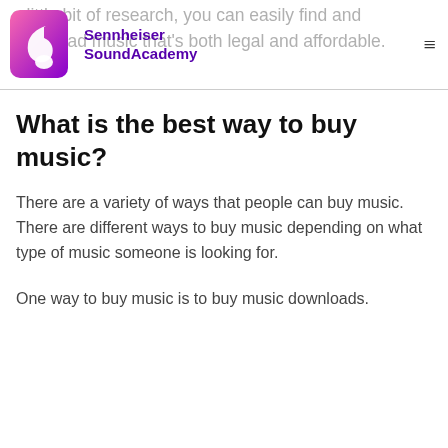a little bit of research, you can easily find and download music that's both legal and affordable.
[Figure (logo): Sennheiser SoundAcademy logo — pink/purple musical note icon with brand name in purple text]
What is the best way to buy music?
There are a variety of ways that people can buy music. There are different ways to buy music depending on what type of music someone is looking for.
One way to buy music is to buy music downloads.